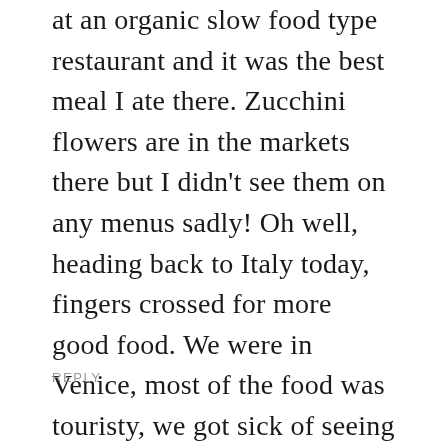at an organic slow food type restaurant and it was the best meal I ate there. Zucchini flowers are in the markets there but I didn't see them on any menus sadly! Oh well, heading back to Italy today, fingers crossed for more good food. We were in Venice, most of the food was touristy, we got sick of seeing the same menu everywhere. Will be in the Cinque Terre for the next few days, expecting more of the same but with added pesto Genovese...
REPLY